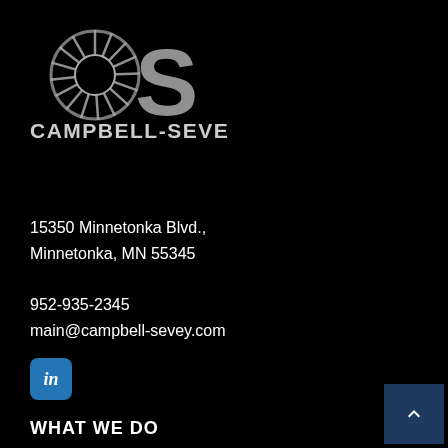[Figure (logo): Campbell-Sevey company logo: circular gear/sun icon on left followed by large letter S, with text CAMPBELL-SEVEY below in bold gray letters]
15350 Minnetonka Blvd.,
Minnetonka, MN 55345
952-935-2345
main@campbell-sevey.com
[Figure (logo): LinkedIn icon button (blue rounded square with 'in' text)]
WHAT WE DO
Boiler System Solutions
HVAC System Solutions
Steam System Solutions